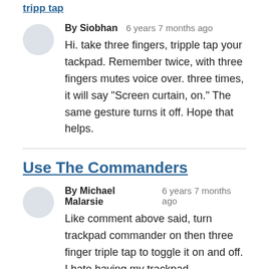tripp tap
By Siobhan   6 years 7 months ago
Hi. take three fingers, tripple tap your tackpad. Remember twice, with three fingers mutes voice over. three times, it will say "Screen curtain, on." The same gesture turns it off. Hope that helps.
Use The Commanders
By Michael Malarsie   6 years 7 months ago
Like comment above said, turn trackpad commander on then three finger triple tap to toggle it on and off. I hate having my trackpad commander on...